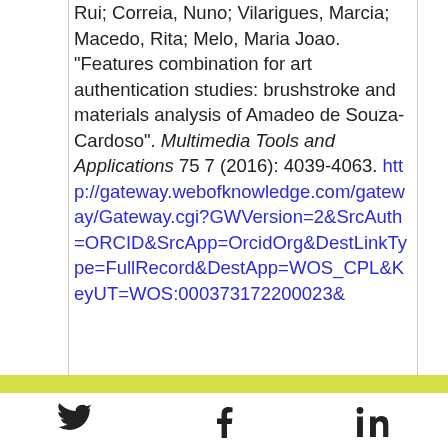Rui; Correia, Nuno; Vilarigues, Marcia; Macedo, Rita; Melo, Maria Joao. "Features combination for art authentication studies: brushstroke and materials analysis of Amadeo de Souza-Cardoso". Multimedia Tools and Applications 75 7 (2016): 4039-4063. http://gateway.webofknowledge.com/gateway/Gateway.cgi?GWVersion=2&SrcAuth=ORCID&SrcApp=OrcidOrg&DestLinkType=FullRecord&DestApp=WOS_CPL&KeyUT=WOS:000373172200023&
Twitter Facebook LinkedIn